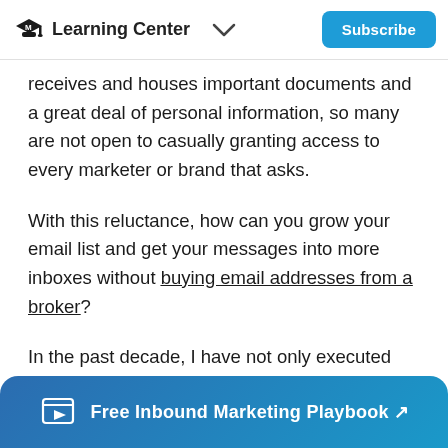Learning Center
receives and houses important documents and a great deal of personal information, so many are not open to casually granting access to every marketer or brand that asks.
With this reluctance, how can you grow your email list and get your messages into more inboxes without buying email addresses from a broker?
In the past decade, I have not only executed hundreds of email marketing campaigns for clients as well as IMPACT, but I've also helped
Free Inbound Marketing Playbook ↗